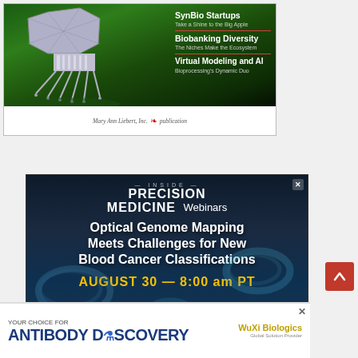[Figure (photo): Magazine cover or advertisement showing a bacteriophage on a green surface with text: SynBio Startups Take a Shine to the Big Apple; Biobanking Diversity The Niches Make the Ecosystem; Virtual Modeling and AI Bioprocessing's Dynamic Duo. Mary Ann Liebert, Inc. publication.]
[Figure (photo): Inside Precision Medicine Webinars advertisement showing bacteria/cells in blue background with text: Optical Genome Mapping Meets Challenges for New Blood Cancer Classifications. August 30, 8:00 am PT.]
[Figure (photo): WuXi Biologics banner advertisement: Your Choice for Antibody Discovery.]